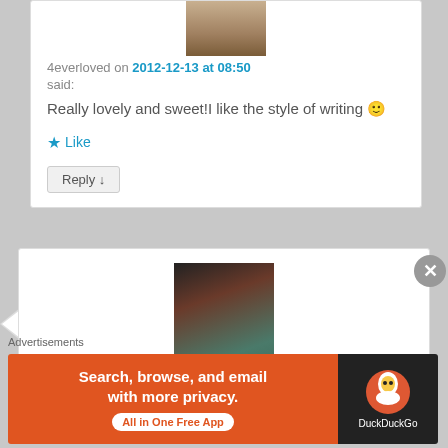[Figure (photo): Avatar image at top of first comment (partial view, brown/gold tones)]
4everloved on 2012-12-13 at 08:50
said:
Really lovely and sweet!I like the style of writing 🙂
★ Like
Reply ↓
[Figure (photo): Profile photo of a young woman with dark hair wearing a teal top]
Ritu KT on 2012-12-13 at 06:54
Advertisements
[Figure (other): DuckDuckGo advertisement banner: Search, browse, and email with more privacy. All in One Free App. DuckDuckGo logo on dark background.]